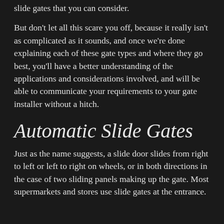slide gates that you can consider.
But don't let all this scare you off, because it really isn't as complicated as it sounds, and once we're done explaining each of these gate types and where they go best, you'll have a better understanding of the applications and considerations involved, and will be able to communicate your requirements to your gate installer without a hitch.
Automatic Slide Gates
Just as the name suggests, a slide door slides from right to left or left to right on wheels, or in both directions in the case of two sliding panels making up the gate. Most supermarkets and stores use slide gates at the entrance.